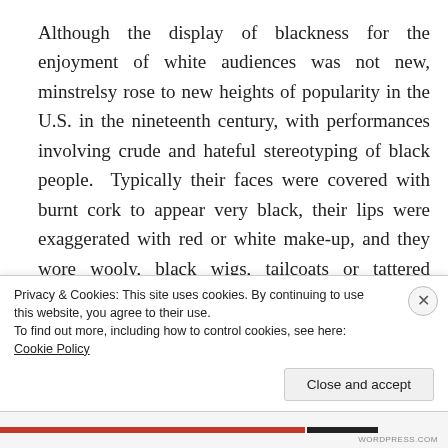Although the display of blackness for the enjoyment of white audiences was not new, minstrelsy rose to new heights of popularity in the U.S. in the nineteenth century, with performances involving crude and hateful stereotyping of black people.  Typically their faces were covered with burnt cork to appear very black, their lips were exaggerated with red or white make-up, and they wore wooly, black wigs, tailcoats or tattered clothing, and gloves.  Actors in blackface typically behaved comically, with a jolly attitude, frequently dancing,
Privacy & Cookies: This site uses cookies. By continuing to use this website, you agree to their use.
To find out more, including how to control cookies, see here: Cookie Policy
Close and accept